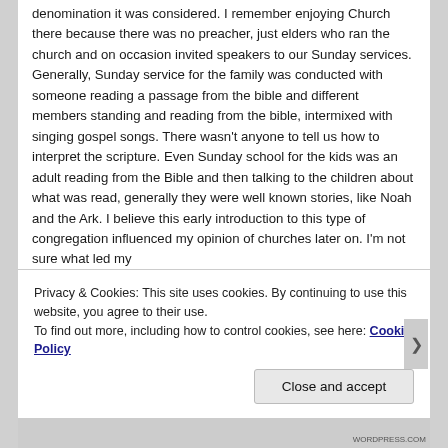denomination it was considered. I remember enjoying Church there because there was no preacher, just elders who ran the church and on occasion invited speakers to our Sunday services. Generally, Sunday service for the family was conducted with someone reading a passage from the bible and different members standing and reading from the bible, intermixed with singing gospel songs. There wasn't anyone to tell us how to interpret the scripture. Even Sunday school for the kids was an adult reading from the Bible and then talking to the children about what was read, generally they were well known stories, like Noah and the Ark. I believe this early introduction to this type of congregation influenced my opinion of churches later on. I'm not sure what led my
Privacy & Cookies: This site uses cookies. By continuing to use this website, you agree to their use.
To find out more, including how to control cookies, see here: Cookie Policy
Close and accept